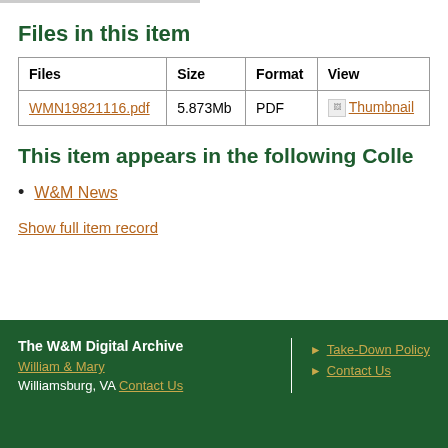Files in this item
| Files | Size | Format | View |
| --- | --- | --- | --- |
| WMN19821116.pdf | 5.873Mb | PDF | Thumbnail |
This item appears in the following Colle
W&M News
Show full item record
The W&M Digital Archive William & Mary Williamsburg, VA Contact Us | Take-Down Policy Contact Us